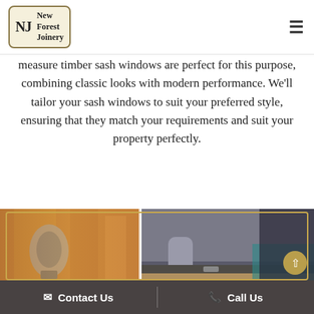New Forest Joinery
measure timber sash windows are perfect for this purpose, combining classic looks with modern performance. We'll tailor your sash windows to suit your preferred style, ensuring that they match your requirements and suit your property perfectly.
[Figure (photo): Two-panel photo collage: left panel shows a power drill/tool being used on wood; right panel shows a worker in gloves working on a timber frame.]
Contact Us   Call Us